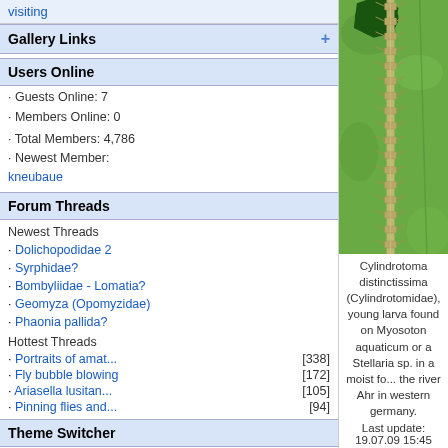visiting
Gallery Links
Users Online
· Guests Online: 7
· Members Online: 0
· Total Members: 4,786
· Newest Member:
kneubaue
Forum Threads
Newest Threads
· Dolichopodidae 2
· Syrphidae?
· Bombyliidae - Lomatia?
· Geomyza (Opomyzidae)
· Phaonia pallida?
Hottest Threads
· Portraits of amat...  [338]
· Fly bubble blowing  [172]
· Ariasella lusitan...  [105]
· Pinning flies and...  [94]
Theme Switcher
Switch to: SimpleAsThat
Last Seen Users
· nowaytofly   < 5 mins
· Carnifex   01:02:51
· John Carr   01:23:26
· Roger   01:45:02
[Figure (photo): Close-up macro photo of a Cylindrotoma distinctissima larva (Cylindrotomidae) on a green leaf with a hole eaten through it. The larva is pale/translucent with spiky protrusions along its body, shown against the bright green leaf surface.]
Cylindrotoma distinctissima (Cylindrotomidae), young larva found on Myosoton aquaticum or a Stellaria sp. in a moist fo... the river Ahr in western germany.
Last update: 19.07.09 15:45